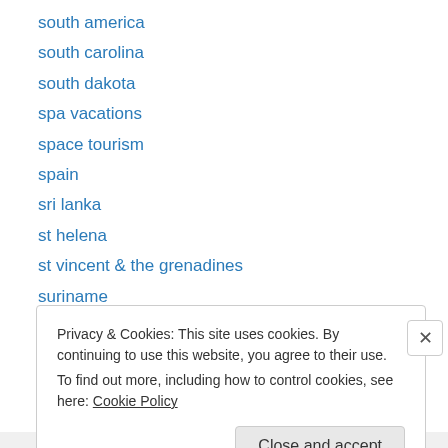south america
south carolina
south dakota
spa vacations
space tourism
spain
sri lanka
st helena
st vincent & the grenadines
suriname
sweden
switzerland
taiwan
Privacy & Cookies: This site uses cookies. By continuing to use this website, you agree to their use.
To find out more, including how to control cookies, see here: Cookie Policy